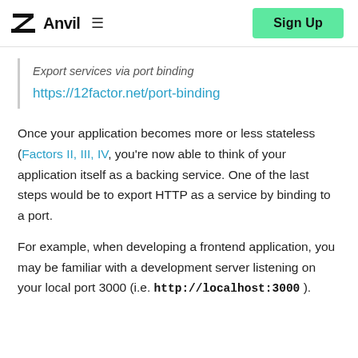Anvil  ≡  Sign Up
Export services via port binding
https://12factor.net/port-binding
Once your application becomes more or less stateless (Factors II, III, IV, you're now able to think of your application itself as a backing service. One of the last steps would be to export HTTP as a service by binding to a port.
For example, when developing a frontend application, you may be familiar with a development server listening on your local port 3000 (i.e. http://localhost:3000 ).